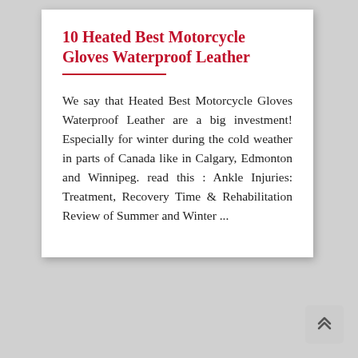10 Heated Best Motorcycle Gloves Waterproof Leather
We say that Heated Best Motorcycle Gloves Waterproof Leather are a big investment! Especially for winter during the cold weather in parts of Canada like in Calgary, Edmonton and Winnipeg. read this : Ankle Injuries: Treatment, Recovery Time & Rehabilitation Review of Summer and Winter ...